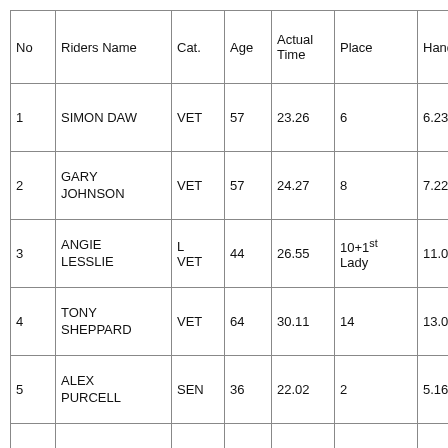| No | Riders Name | Cat. | Age | Actual Time | Place | Handicap |  |
| --- | --- | --- | --- | --- | --- | --- | --- |
| 1 | SIMON DAW | VET | 57 | 23.26 | 6 | 6.23 |  |
| 2 | GARY JOHNSON | VET | 57 | 24.27 | 8 | 7.22 |  |
| 3 | ANGIE LESSLIE | L VET | 44 | 26.55 | 10+1st Lady | 11.00 |  |
| 4 | TONY SHEPPARD | VET | 64 | 30.11 | 14 | 13.06 |  |
| 5 | ALEX PURCELL | SEN | 36 | 22.02 | 2 | 5.16 |  |